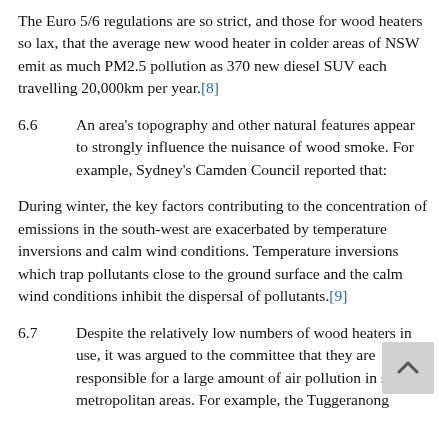The Euro 5/6 regulations are so strict, and those for wood heaters so lax, that the average new wood heater in colder areas of NSW emit as much PM2.5 pollution as 370 new diesel SUV each travelling 20,000km per year.[8]
6.6   An area's topography and other natural features appear to strongly influence the nuisance of wood smoke. For example, Sydney's Camden Council reported that:
During winter, the key factors contributing to the concentration of emissions in the south-west are exacerbated by temperature inversions and calm wind conditions. Temperature inversions which trap pollutants close to the ground surface and the calm wind conditions inhibit the dispersal of pollutants.[9]
6.7   Despite the relatively low numbers of wood heaters in use, it was argued to the committee that they are responsible for a large amount of air pollution in some metropolitan areas. For example, the Tuggeranong